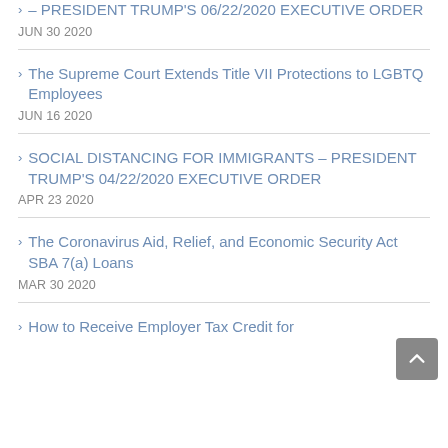– PRESIDENT TRUMP'S 06/22/2020 EXECUTIVE ORDER
JUN 30 2020
The Supreme Court Extends Title VII Protections to LGBTQ Employees
JUN 16 2020
SOCIAL DISTANCING FOR IMMIGRANTS – PRESIDENT TRUMP'S 04/22/2020 EXECUTIVE ORDER
APR 23 2020
The Coronavirus Aid, Relief, and Economic Security Act SBA 7(a) Loans
MAR 30 2020
How to Receive Employer Tax Credit for